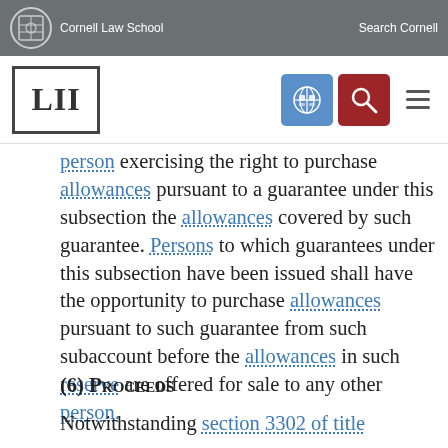Cornell Law School | Search Cornell
[LII]
person exercising the right to purchase allowances pursuant to a guarantee under this subsection the allowances covered by such guarantee. Persons to which guarantees under this subsection have been issued shall have the opportunity to purchase allowances pursuant to such guarantee from such subaccount before the allowances in such reserve are offered for sale to any other person.
(6) Proceeds
Notwithstanding section 3302 of title